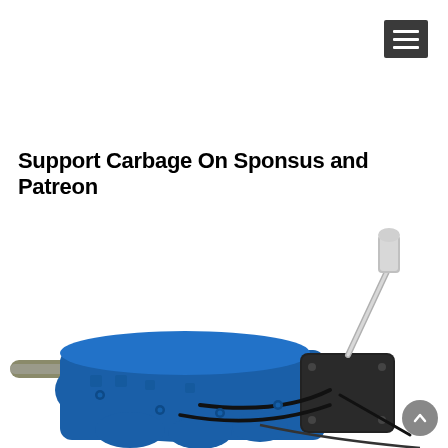☰ (hamburger menu button)
Support Carbage On Sponsus and Patreon
[Figure (photo): A blue manual gearbox/transmission with a chrome gear shift lever, showing mechanical linkages and a drive shaft stub on a white background.]